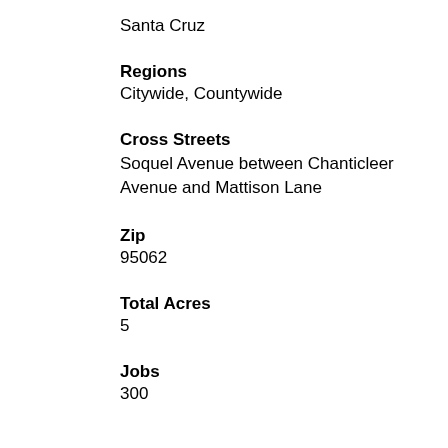Santa Cruz
Regions
Citywide, Countywide
Cross Streets
Soquel Avenue between Chanticleer Avenue and Mattison Lane
Zip
95062
Total Acres
5
Jobs
300